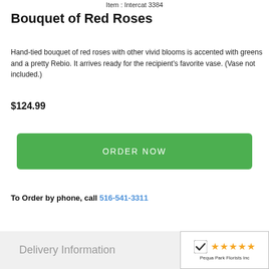Item : Intercat 3384
Bouquet of Red Roses
Hand-tied bouquet of red roses with other vivid blooms is accented with greens and a pretty Rebio. It arrives ready for the recipient's favorite vase. (Vase not included.)
$124.99
ORDER NOW
To Order by phone, call 516-541-3311
Delivery Information